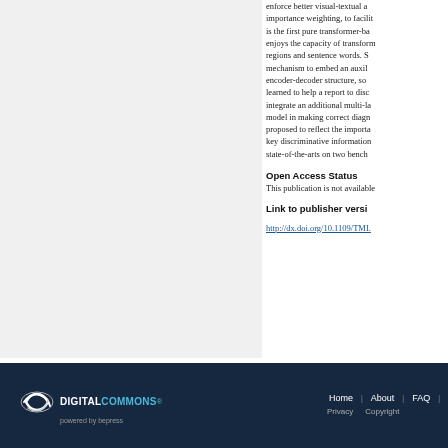enforce better visual-textual alignment, importance weighting, to facilitate... is the first pure transformer-based... enjoys the capacity of transformer... regions and sentence words. S... mechanism to embed an auxiliary... encoder-decoder structure, so... learned to help a report to disc... integrate an additional multi-la... model in making correct diagno... proposed to reflect the importa... key discriminative information... state-of-the-arts on two benchm...
Open Access Status
This publication is not available...
Link to publisher version
http://dx.doi.org/10.1109/TMI...
DigitalCommons powered by bepress | Home | About | FAQ | Privacy | Copyright